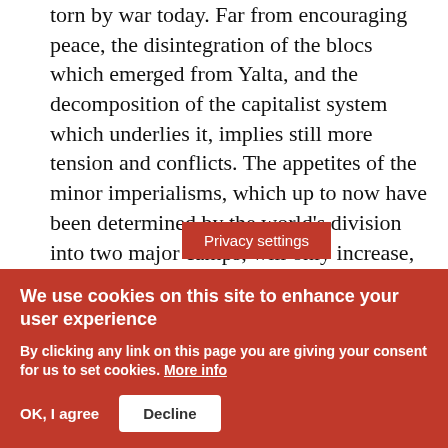torn by war today. Far from encouraging peace, the disintegration of the blocs which emerged from Yalta, and the decomposition of the capitalist system which underlies it, implies still more tension and conflicts. The appetites of the minor imperialisms, which up to now have been determined by the world's division into two major camps, will only increase, now that these camps are no longer dominated by their leaders as before.
Stalinism is not dying a peaceful death, giving way to other "de... of bourgeois
[Figure (screenshot): Cookie consent banner overlay with red background. Contains 'Privacy settings' button in darker red, heading 'We use cookies on this site to enhance your user experience', body text 'By clicking any link on this page you are giving your consent for us to set cookies. More info', and two buttons: 'OK, I agree' and 'Decline'.]